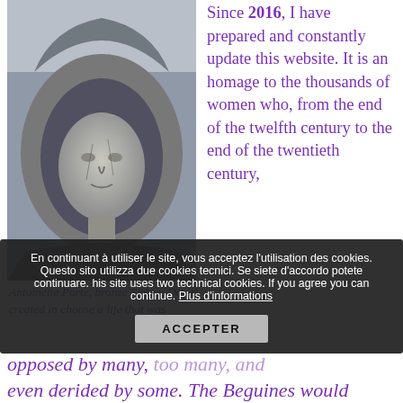[Figure (photo): Black and white photograph of a stone sculpture showing the face of a woman with a hood or veil, cracked stone surface, architectural or funerary sculpture style.]
Since 2016, I have prepared and constantly update this website. It is an homage to the thousands of women who, from the end of the twelfth century to the end of the twentieth century,
Antoinette Porte, bronze Statue, Douai, created in choose a life that was opposed by many, ignored by too many, and even derided by some. The Beguines would
En continuant à utiliser le site, vous acceptez l'utilisation des cookies. Questo sito utilizza due cookies tecnici. Se siete d'accordo potete continuare. his site uses two technical cookies. If you agree you can continue. Plus d'informations